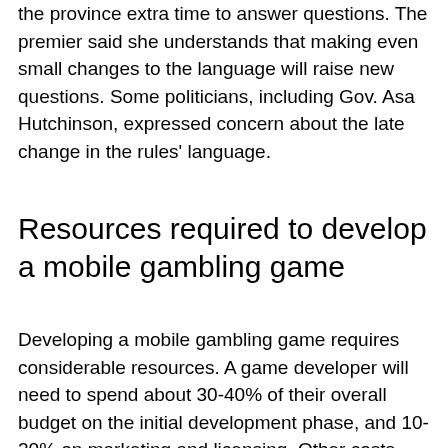Post 1st. But Freeland's decision to pull them gives the province extra time to answer questions. The premier said she understands that making even small changes to the language will raise new questions. Some politicians, including Gov. Asa Hutchinson, expressed concern about the late change in the rules' language.
Resources required to develop a mobile gambling game
Developing a mobile gambling game requires considerable resources. A game developer will need to spend about 30-40% of their overall budget on the initial development phase, and 10-20% on marketing and licensing. Other costs include salaries for staff and compensation, in addition th...